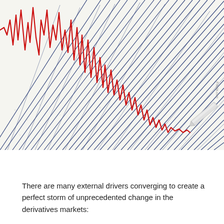[Figure (illustration): A seismograph-style illustration showing dense diagonal blue lines overlaid with a jagged red line (like a seismogram or market volatility trace), with a white stylus/pen in the lower right corner. The background is off-white/light gray with subtle texture. A small watermark reads 'Fotolia.com' vertically on the right side.]
There are many external drivers converging to create a perfect storm of unprecedented change in the derivatives markets: